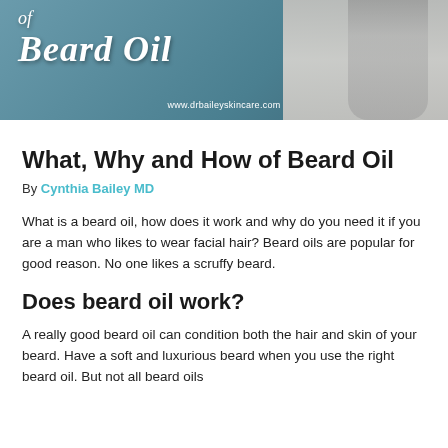[Figure (photo): Banner image with script text 'of Beard Oil' on a teal/gray background with a man in a white tank top on the right side. URL www.drbaileyskincare.com shown at the bottom.]
What, Why and How of Beard Oil
By Cynthia Bailey MD
What is a beard oil, how does it work and why do you need it if you are a man who likes to wear facial hair? Beard oils are popular for good reason. No one likes a scruffy beard.
Does beard oil work?
A really good beard oil can condition both the hair and skin of your beard. Have a soft and luxurious beard when you use the right beard oil. But not all beard oils